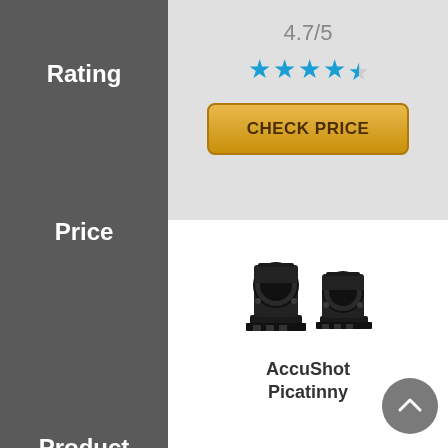Rating
4.7/5
[Figure (infographic): 4.5 star rating shown as blue stars (4 full stars and 1 half star)]
CHECK PRICE
Price
Product
[Figure (photo): Two black scope rings / ring mounts for Picatinny rail]
AccuShot Picatinny